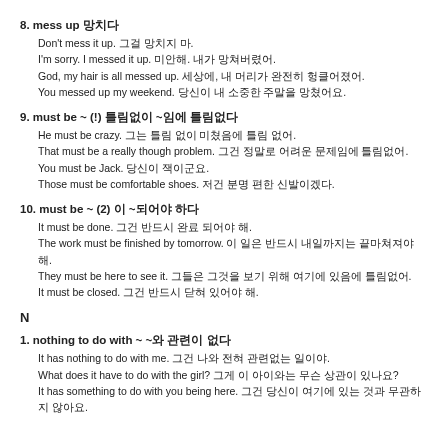8. mess up 망치다
Don't mess it up. 그걸 망치지 마.
I'm sorry. I messed it up. 미안해. 내가 망쳐버렸어.
God, my hair is all messed up. 세상에, 내 머리가 완전히 헝클어졌어.
You messed up my weekend. 당신이 내 소중한 주말을 망쳤어요.
9. must be ~ (!) 틀림없이 ~임에 틀림없다
He must be crazy. 그는 틀림 없이 미쳤음에 틀림 없어.
That must be a really though problem. 그건 정말로 어려운 문제임에 틀림없어.
You must be Jack. 당신이 잭이군요.
Those must be comfortable shoes. 저건 분명 편한 신발이겠다.
10. must be ~ (2) 이 ~되어야 하다
It must be done. 그건 반드시 완료 되어야 해.
The work must be finished by tomorrow. 이 일은 반드시 내일까지는 끝마쳐져야 해.
They must be here to see it. 그들은 그것을 보기 위해 여기에 있음에 틀림없어.
It must be closed. 그건 반드시 닫혀 있어야 해.
N
1. nothing to do with ~ ~와 관련이 없다
It has nothing to do with me. 그건 나와 전혀 관련없는 일이야.
What does it have to do with the girl? 그게 이 아이와는 무슨 상관이 있나요?
It has something to do with you being here. 그건 당신이 여기에 있는 것과 무관하지 않아요.